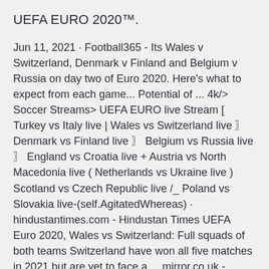UEFA EURO 2020™.
Jun 11, 2021 · Football365 - Its Wales v Switzerland, Denmark v Finland and Belgium v Russia on day two of Euro 2020. Here's what to expect from each game... Potential of ... 4k/> Soccer Streams> UEFA EURO live Stream [ Turkey vs Italy live | Wales vs Switzerland live 〗 Denmark vs Finland live 〗 Belgium vs Russia live 〗 England vs Croatia live + Austria vs North Macedonia live ( Netherlands vs Ukraine live ) Scotland vs Czech Republic live /_ Poland vs Slovakia live-(self.AgitatedWhereas) · hindustantimes.com - Hindustan Times UEFA Euro 2020, Wales vs Switzerland: Full squads of both teams Switzerland have won all five matches in 2021 but are yet to face a ... mirror.co.uk - Arriving a year later than anticipated, Euro 2020 is finally upon us, albeit in 2021, and the